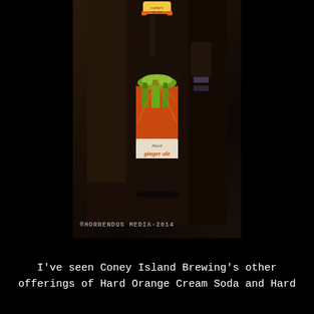[Figure (photo): A dark low-light photograph of a Coney Island Hard Ginger Ale bottle sitting on a dark surface. The bottle has a colorful label featuring illustrated green bottles against an orange and dark background. The cap area shows the Coney Island Brewing branding. A watermark reading '®HORRENDUS MEDIA-2014' appears at the bottom of the photo.]
I've seen Coney Island Brewing's other offerings of Hard Orange Cream Soda and Hard